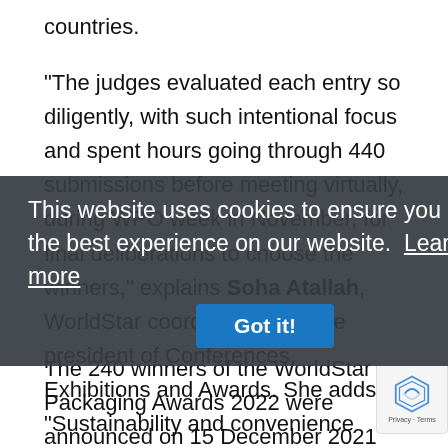countries.
“The judges evaluated each entry so diligently, with such intentional focus and spent hours going through 440 submissions before meeting virtually, during WPO week in November, for final deliberations to choose the winners,” explains Soha Atallah, WorldStar coordinator and vice president of Conferences, Exhibitions and Awards. She adds, “Sustainability and convenience were among the main focus for most of the entries in WorldStar 2022 in addition to other post-Covid-19 trends such as hygiene, eCommerce and wellness,” states Soha Atallah.
The 240 winners of the WorldStar Packaging Awards 2022 were announced on 15 December 2021 and posted on www.worldstar.org. The Top 4 most awarded countries 2022 edition are Germany, 28 awards; Australia & New
This website uses cookies to ensure you get the best experience on our website. Learn more